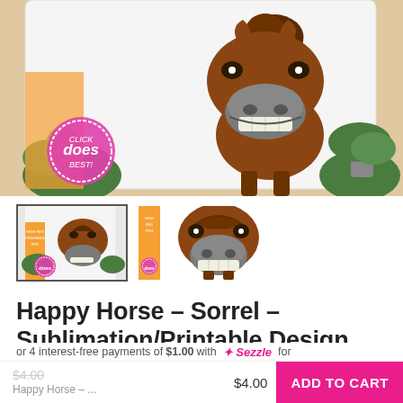[Figure (photo): Product photo of a white pillow/tote bag printed with a cartoon smiling sorrel horse face. Background shows plants and a wooden surface. A circular logo badge reading 'does' is in the lower left corner.]
[Figure (photo): Thumbnail 1 (selected/bordered): smaller view of the same horse pillow product with orange banner in corner and 'does' badge.]
[Figure (photo): Thumbnail 2: close-up of just the cartoon sorrel horse head illustration on white background with orange strip and 'does' badge.]
Happy Horse – Sorrel – Sublimation/Printable Design
$4.00  Happy Horse – ...  $4.00  ADD TO CART
or 4 interest-free payments of $1.00 with  Sezzle  for